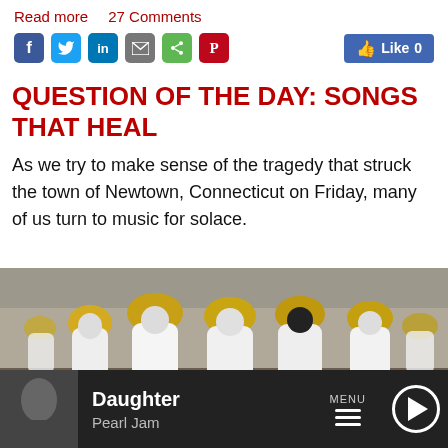Read more   27 Comments
[Figure (screenshot): Social media sharing icons: Facebook, Twitter, LinkedIn, Email, Share, Pinterest; and a Facebook Like button showing Like 0]
QUESTION OF THE DAY: SONGS THAT HEAL
As we try to make sense of the tragedy that struck the town of Newtown, Connecticut on Friday, many of us turn to music for solace.
[Figure (photo): Photograph of white angel cut-out figures with yellow wings standing outdoors among bare trees, a memorial display.]
[Figure (screenshot): Music player bar showing album art thumbnail, song title 'Daughter' by Pearl Jam, MENU hamburger icon, and play button]